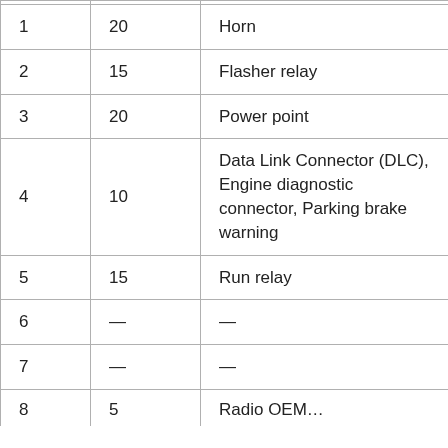| 1 | 20 | Horn |
| 2 | 15 | Flasher relay |
| 3 | 20 | Power point |
| 4 | 10 | Data Link Connector (DLC), Engine diagnostic connector, Parking brake warning |
| 5 | 15 | Run relay |
| 6 | — | — |
| 7 | — | — |
| 8 | 5 | Radio OEM… |